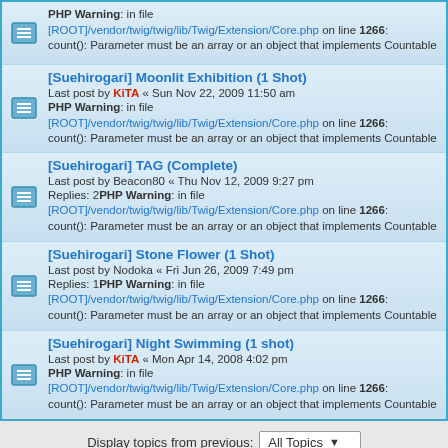[phpBB Debug] PHP Warning: in file [ROOT]/vendor/twig/twig/lib/Twig/Extension/Core.php on line 1266: count(): Parameter must be an array or an object that implements Countable
[Suehirogari] Moonlit Exhibition (1 Shot)
Last post by KiTA « Sun Nov 22, 2009 11:50 am
[phpBB Debug] PHP Warning: in file [ROOT]/vendor/twig/twig/lib/Twig/Extension/Core.php on line 1266: count(): Parameter must be an array or an object that implements Countable
[Suehirogari] TAG (Complete)
Last post by Beacon80 « Thu Nov 12, 2009 9:27 pm
Replies: 2[phpBB Debug] PHP Warning: in file [ROOT]/vendor/twig/twig/lib/Twig/Extension/Core.php on line 1266: count(): Parameter must be an array or an object that implements Countable
[Suehirogari] Stone Flower (1 Shot)
Last post by Nodoka « Fri Jun 26, 2009 7:49 pm
Replies: 1[phpBB Debug] PHP Warning: in file [ROOT]/vendor/twig/twig/lib/Twig/Extension/Core.php on line 1266: count(): Parameter must be an array or an object that implements Countable
[Suehirogari] Night Swimming (1 shot)
Last post by KiTA « Mon Apr 14, 2008 4:02 pm
[phpBB Debug] PHP Warning: in file [ROOT]/vendor/twig/twig/lib/Twig/Extension/Core.php on line 1266: count(): Parameter must be an array or an object that implements Countable
Display topics from previous: All Topics
Sort by Post time
Descending